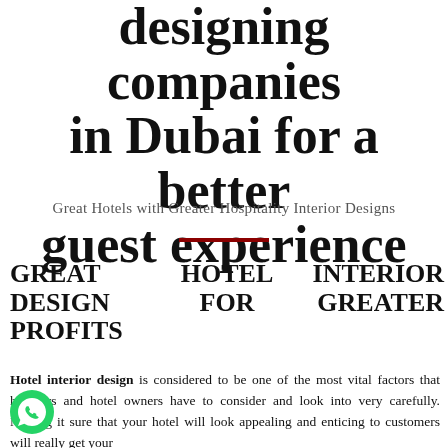designing companies in Dubai for a better guest experience
Great Hotels with Greater Hospitality Interior Designs
GREAT DESIGN PROFITS
HOTEL FOR
INTERIOR GREATER
Hotel interior design is considered to be one of the most vital factors that hoteliers and hotel owners have to consider and look into very carefully. Making it sure that your hotel will look appealing and enticing to customers will really get your